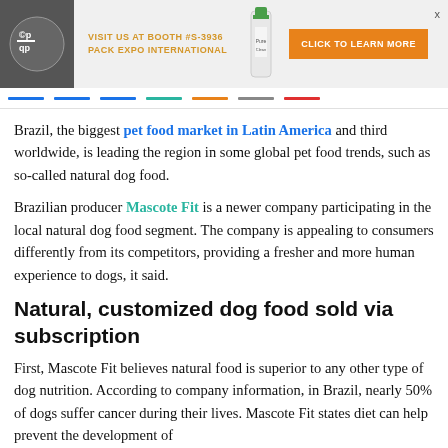[Figure (other): Advertisement banner for Pack Expo International booth #S-3936 with logo, product image, and orange 'Click to Learn More' button]
Brazil, the biggest pet food market in Latin America and third worldwide, is leading the region in some global pet food trends, such as so-called natural dog food.
Brazilian producer Mascote Fit is a newer company participating in the local natural dog food segment. The company is appealing to consumers differently from its competitors, providing a fresher and more human experience to dogs, it said.
Natural, customized dog food sold via subscription
First, Mascote Fit believes natural food is superior to any other type of dog nutrition. According to company information, in Brazil, nearly 50% of dogs suffer cancer during their lives. Mascote Fit states diet can help prevent the development of...